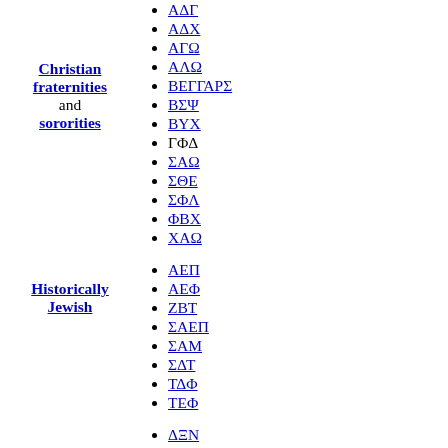ΑΔΓ
ΑΔΧ
ΑΓΩ
ΑΛΩ
ΒΕΓΓΑΡΣ
ΒΣΨ
ΒΥΧ
ΓΦΔ
ΣΑΩ
ΣΘΕ
ΣΦΛ
ΦΒΧ
ΧΑΩ
Christian fraternities and sororities
ΑΕΠ
ΑΕΦ
ΖΒΤ
ΣΑΕΠ
ΣΑΜ
ΣΔΤ
ΤΔΦ
ΤΕΦ
Historically Jewish
ΔΞΝ
ΔΞΦ
ΓΗ